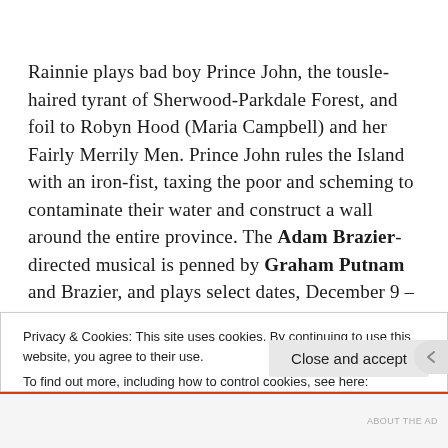Rainnie plays bad boy Prince John, the tousle-haired tyrant of Sherwood-Parkdale Forest, and foil to Robyn Hood (Maria Campbell) and her Fairly Merrily Men. Prince John rules the Island with an iron-fist, taxing the poor and scheming to contaminate their water and construct a wall around the entire province. The Adam Brazier-directed musical is penned by Graham Putnam and Brazier, and plays select dates, December 9 – 17.
Privacy & Cookies: This site uses cookies. By continuing to use this website, you agree to their use.
To find out more, including how to control cookies, see here:
Cookie Policy
Close and accept
ABOUT THE AD